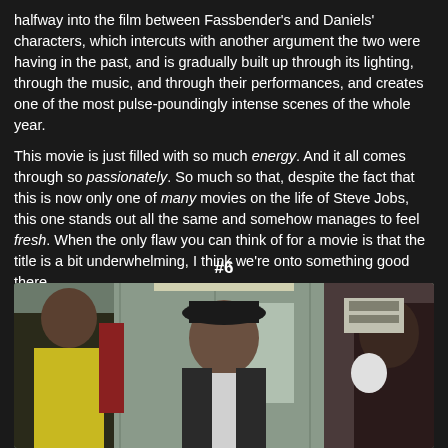halfway into the film between Fassbender's and Daniels' characters, which intercuts with another argument the two were having in the past, and is gradually built up through its lighting, through the music, and through their performances, and creates one of the most pulse-poundingly intense scenes of the whole year.

This movie is just filled with so much energy. And it all comes through so passionately. So much so that, despite the fact that this is now only one of many movies on the life of Steve Jobs, this one stands out all the same and somehow manages to feel fresh. When the only flaw you can think of for a movie is that the title is a bit underwhelming, I think we're onto something good there.
#6
[Figure (photo): Movie still showing three people in what appears to be a gym or locker room. Center figure is a man wearing a black hat and white shirt, flanked by two other individuals.]